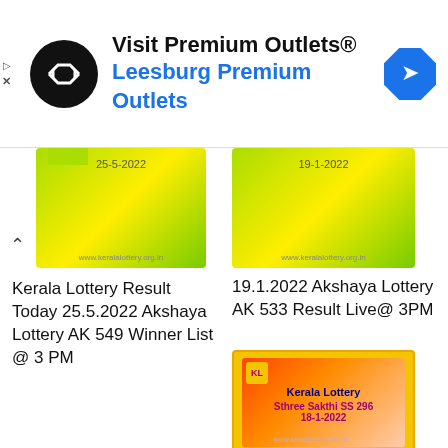[Figure (screenshot): Advertisement banner for Premium Outlets - Leesburg Premium Outlets with logo circle and navigation icon]
[Figure (screenshot): Kerala Lottery thumbnail with date 25-5-2022 on green/yellow background]
[Figure (screenshot): Kerala Lottery thumbnail with date 19-1-2022 on green/yellow background]
Kerala Lottery Result Today 25.5.2022 Akshaya Lottery AK 549 Winner List @ 3 PM
19.1.2022 Akshaya Lottery AK 533 Result Live@ 3PM
[Figure (screenshot): Kerala Lottery Sthree Sakthi SS 296 18-1-2022 card with red-orange gradient background]
Sthree Sakthi SS 296 Lottery Result 18.1.2022 : Kerala Lottery Result